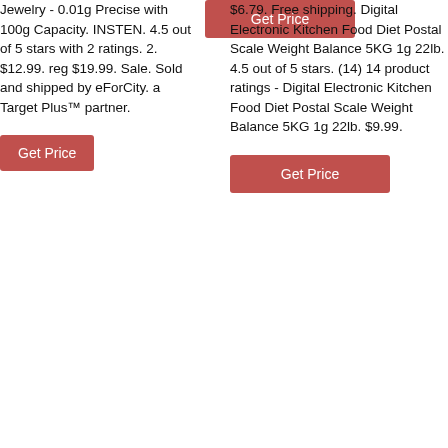Jewelry - 0.01g Precise with 100g Capacity. INSTEN. 4.5 out of 5 stars with 2 ratings. 2. $12.99. reg $19.99. Sale. Sold and shipped by eForCity. a Target Plus™ partner.
Get Price
Get Price
$6.79. Free shipping. Digital Electronic Kitchen Food Diet Postal Scale Weight Balance 5KG 1g 22lb. 4.5 out of 5 stars. (14) 14 product ratings - Digital Electronic Kitchen Food Diet Postal Scale Weight Balance 5KG 1g 22lb. $9.99.
Get Price